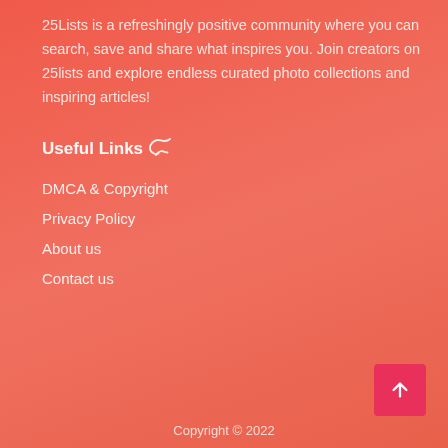25Lists is a refreshingly positive community where you can search, save and share what inspires you. Join creators on 25lists and explore endless curated photo collections and inspiring articles!
Useful Links 🐦
DMCA & Copyright
Privacy Policy
About us
Contact us
Copyright © 2022